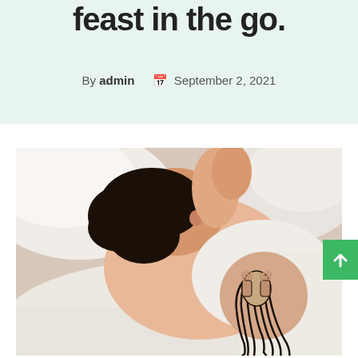feast in the go.
By admin  September 2, 2021
[Figure (photo): Person with short dark hair lying on white pillows/bed, wearing a white shirt, with a large tattoo of a face with long hair on their arm/shoulder. Text on tattoo reads 'SOMEDAY MY NAME WILL MARK YOU'. Photo is in muted/desaturated tones.]